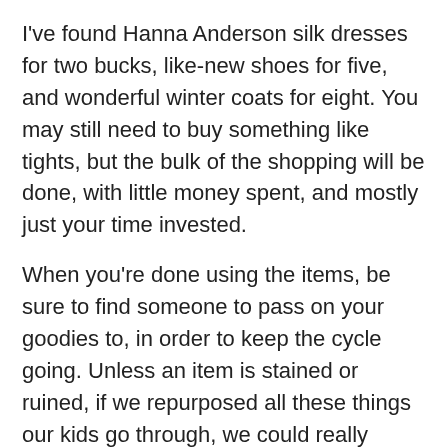I've found Hanna Anderson silk dresses for two bucks, like-new shoes for five, and wonderful winter coats for eight. You may still need to buy something like tights, but the bulk of the shopping will be done, with little money spent, and mostly just your time invested.
When you're done using the items, be sure to find someone to pass on your goodies to, in order to keep the cycle going. Unless an item is stained or ruined, if we repurposed all these things our kids go through, we could really make a dent in the amount of clothing we all buy.
Obviously, there are other sources besides thrift stores, both for buying and selling used clothes. Here are some helpful links:
ThredUp.com and Mommy Cycle are sites that allow